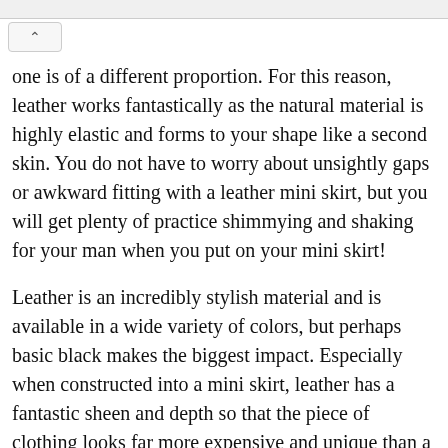one is of a different proportion. For this reason, leather works fantastically as the natural material is highly elastic and forms to your shape like a second skin. You do not have to worry about unsightly gaps or awkward fitting with a leather mini skirt, but you will get plenty of practice shimmying and shaking for your man when you put on your mini skirt!
Leather is an incredibly stylish material and is available in a wide variety of colors, but perhaps basic black makes the biggest impact. Especially when constructed into a mini skirt, leather has a fantastic sheen and depth so that the piece of clothing looks far more expensive and unique than a typical skirt made of some type of cloth. Furthermore, leather is compatible with a variety of other materials, including other leather, so matching a top to your leather mini skirt in order to complete your outfit will be a breeze.